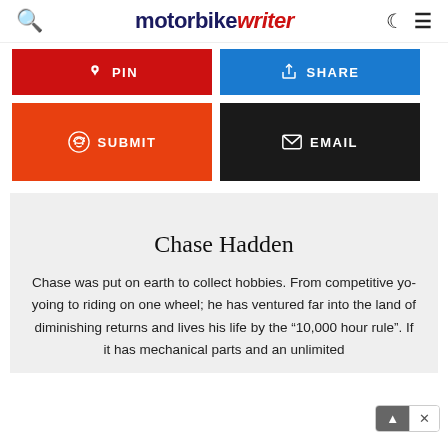motorbike writer
[Figure (infographic): Social sharing buttons: PIN (red), SHARE (blue), SUBMIT (orange/reddit), EMAIL (black)]
Chase Hadden
Chase was put on earth to collect hobbies. From competitive yo-yoing to riding on one wheel; he has ventured far into the land of diminishing returns and lives his life by the "10,000 hour rule". If it has mechanical parts and an unlimited